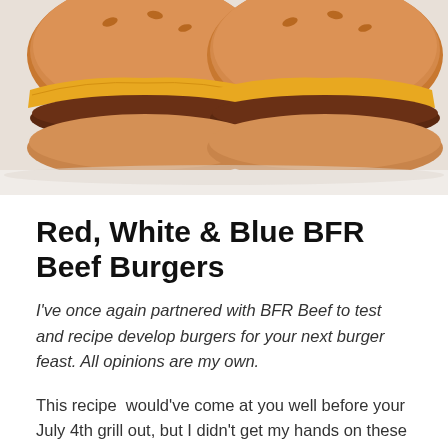[Figure (photo): Two cheeseburgers side by side with melted orange cheese and golden buns on a white plate, cropped to show top half]
Red, White & Blue BFR Beef Burgers
I've once again partnered with BFR Beef to test and recipe develop burgers for your next burger feast. All opinions are my own.
This recipe  would've come at you well before your July 4th grill out, but I didn't get my hands on these beautiful BFR Beef burgers until the day before, so bookmark this recipe for 2021. As a matter of fact, these burgers are delicious any time and I hope you try them as soon as possible this summer. You can order BFR Beef online